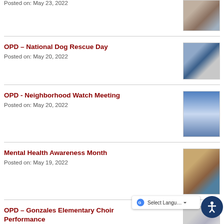Posted on: May 23, 2022
[Figure (photo): Partial thumbnail image at top right]
OPD – National Dog Rescue Day
Posted on: May 20, 2022
[Figure (photo): National Dog Rescue Day flyer thumbnail]
OPD - Neighborhood Watch Meeting
Posted on: May 20, 2022
[Figure (photo): Neighborhood Watch Meeting flyer thumbnail]
Mental Health Awareness Month
Posted on: May 19, 2022
[Figure (photo): Person with horse photo thumbnail]
OPD – Gonzales Elementary Choir Performance
Posted on: May 19, 2022
[Figure (photo): Choir performance partial thumbnail]